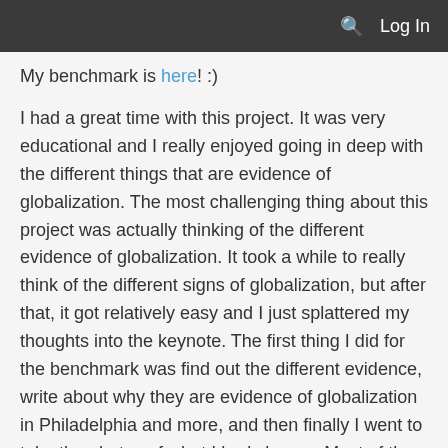🔍  Log In
My benchmark is here! :)
I had a great time with this project. It was very educational and I really enjoyed going in deep with the different things that are evidence of globalization. The most challenging thing about this project was actually thinking of the different evidence of globalization. It took a while to really think of the different signs of globalization, but after that, it got relatively easy and I just splattered my thoughts into the keynote. The first thing I did for the benchmark was find out the different evidence, write about why they are evidence of globalization in Philadelphia and more, and then finally I went to take the photos of what I had chosen. Most of the pictures were relatively easy to take because they were right in the center city area like the Red Cross and the flags on the Benjamin Franklin Parkway. The image